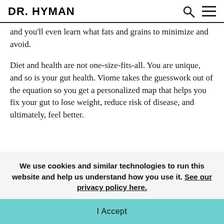DR. HYMAN
and you'll even learn what fats and grains to minimize and avoid.
Diet and health are not one-size-fits-all. You are unique, and so is your gut health. Viome takes the guesswork out of the equation so you get a personalized map that helps you fix your gut to lose weight, reduce risk of disease, and ultimately, feel better.
We use cookies and similar technologies to run this website and help us understand how you use it. See our privacy policy here.
I Accept